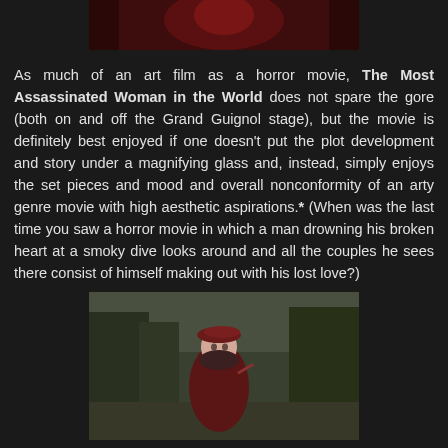[Figure (photo): Dark red-toned movie still showing a figure in red against a dark background, cropped at top]
As much of an art film as a horror movie, The Most Assassinated Woman in the World does not spare the gore (both on and off the Grand Guignol stage), but the movie is definitely best enjoyed if one doesn't put the plot development and story under a magnifying glass and, instead, simply enjoys the set pieces and mood and overall nonconformity of an arty genre movie with high aesthetic aspirations.* (When was the last time you saw a horror movie in which a man drowning his broken heart at a smoky dive looks around and all the couples he sees there consist of himself making out with his lost love?)
[Figure (photo): Movie still showing a woman in a dark red coat and burgundy beret hat, holding a cigarette, in an outdoor wooded cemetery-like setting]
Perfect for fans of movies like Harry Kümel's Daughters of Darkness (1971 / trailer) and arthouse horror.